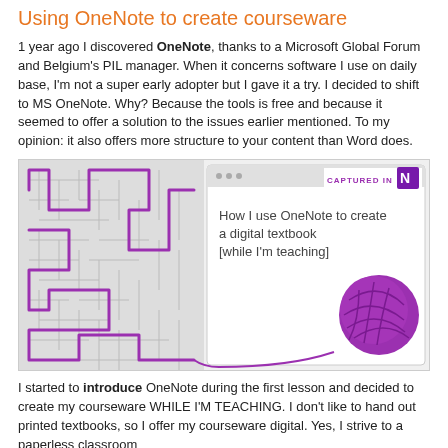Using OneNote to create courseware
1 year ago I discovered OneNote, thanks to a Microsoft Global Forum and Belgium's PIL manager. When it concerns software I use on daily base, I'm not a super early adopter but I gave it a try. I decided to shift to MS OneNote. Why? Because the tools is free and because it seemed to offer a solution to the issues earlier mentioned. To my opinion: it also offers more structure to your content than Word does.
[Figure (screenshot): Screenshot captured in OneNote showing a maze image on the left and a digital textbook slide on the right with text 'How I use OneNote to create a digital textbook [while I'm teaching]' and a purple ball of yarn.]
I started to introduce OneNote during the first lesson and decided to create my courseware WHILE I'M TEACHING. I don't like to hand out printed textbooks, so I offer my courseware digital. Yes, I strive to a paperless classroom